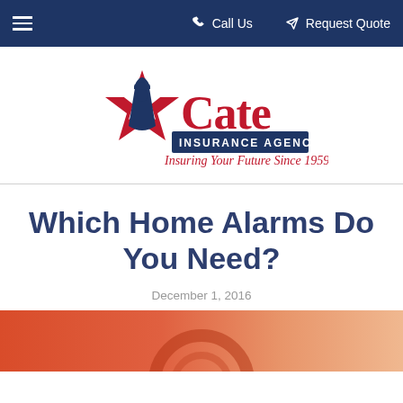≡  Call Us    Request Quote
[Figure (logo): Cate Insurance Agency logo with a patriot figure inside a red star, red text 'Cate', blue banner 'INSURANCE AGENCY', and red script 'Insuring Your Future Since 1959']
Which Home Alarms Do You Need?
December 1, 2016
[Figure (photo): Partial photo showing a reddish-orange background with what appears to be a home alarm device]